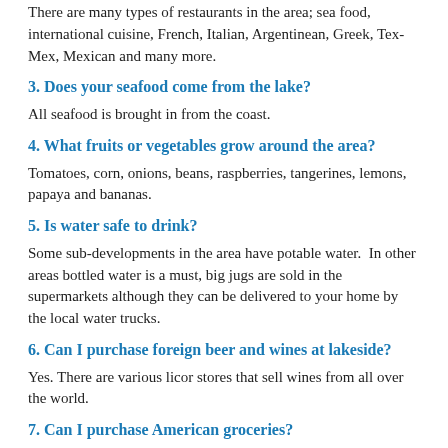There are many types of restaurants in the area; sea food, international cuisine, French, Italian, Argentinean, Greek, Tex-Mex, Mexican and many more.
3. Does your seafood come from the lake?
All seafood is brought in from the coast.
4. What fruits or vegetables grow around the area?
Tomatoes, corn, onions, beans, raspberries, tangerines, lemons, papaya and bananas.
5. Is water safe to drink?
Some sub-developments in the area have potable water.  In other areas bottled water is a must, big jugs are sold in the supermarkets although they can be delivered to your home by the local water trucks.
6. Can I purchase foreign beer and wines at lakeside?
Yes. There are various licor stores that sell wines from all over the world.
7. Can I purchase American groceries?